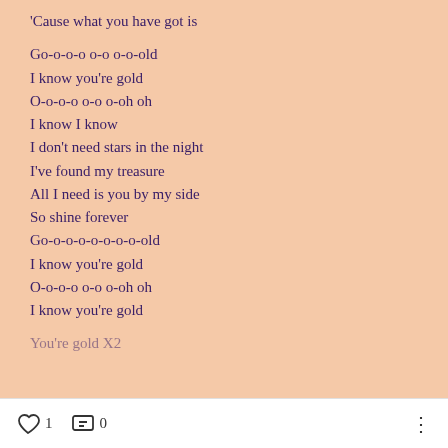'Cause what you have got is
Go-o-o-o o-o o-o-old
I know you're gold
O-o-o-o o-o o-oh oh
I know I know
I don't need stars in the night
I've found my treasure
All I need is you by my side
So shine forever
Go-o-o-o-o-o-o-o-old
I know you're gold
O-o-o-o o-o o-oh oh
I know you're gold
You're gold X2
1  0